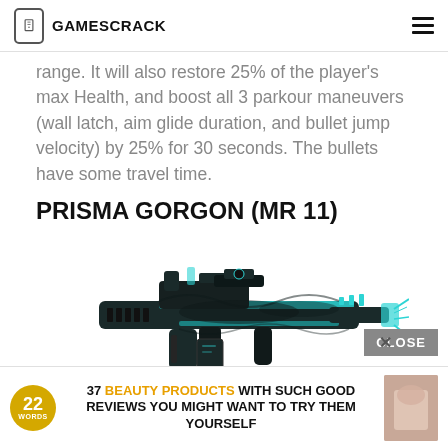GAMESCRACK
range. It will also restore 25% of the player's max Health, and boost all 3 parkour maneuvers (wall latch, aim glide duration, and bullet jump velocity) by 25% for 30 seconds. The bullets have some travel time.
PRISMA GORGON (MR 11)
[Figure (photo): Image of the Prisma Gorgon weapon — a dark, sleek sci-fi machine gun with cyan/teal energy highlights along the barrel.]
37 BEAUTY PRODUCTS WITH SUCH GOOD REVIEWS YOU MIGHT WANT TO TRY THEM YOURSELF